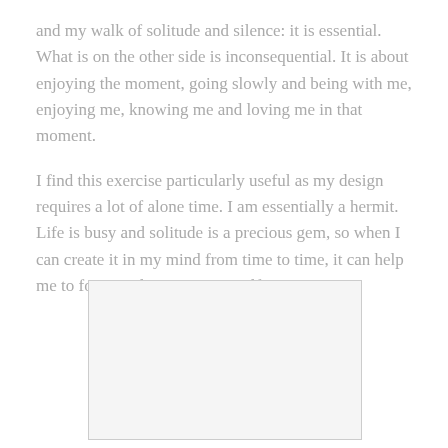and my walk of solitude and silence: it is essential. What is on the other side is inconsequential. It is about enjoying the moment, going slowly and being with me, enjoying me, knowing me and loving me in that moment.
I find this exercise particularly useful as my design requires a lot of alone time. I am essentially a hermit. Life is busy and solitude is a precious gem, so when I can create it in my mind from time to time, it can help me to focus and stay my true self.
[Figure (other): A blank/empty light gray bordered rectangle placeholder image]